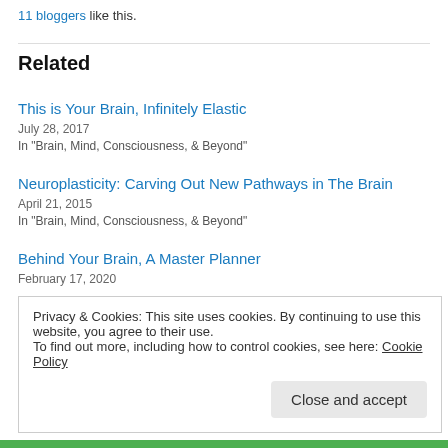11 bloggers like this.
Related
This is Your Brain, Infinitely Elastic
July 28, 2017
In "Brain, Mind, Consciousness, & Beyond"
Neuroplasticity: Carving Out New Pathways in The Brain
April 21, 2015
In "Brain, Mind, Consciousness, & Beyond"
Behind Your Brain, A Master Planner
February 17, 2020
Privacy & Cookies: This site uses cookies. By continuing to use this website, you agree to their use.
To find out more, including how to control cookies, see here: Cookie Policy
Close and accept